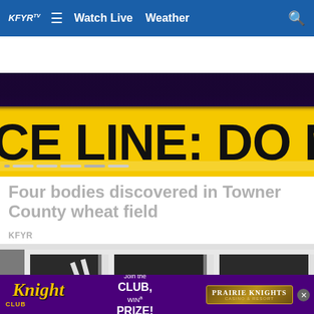KFYR | Watch Live | Weather
[Figure (photo): Yellow police crime scene tape reading 'CE LINE: DO NOT CROSS' against a dark purple/black background]
Four bodies discovered in Towner County wheat field
KFYR
[Figure (photo): Broken white-framed glass doors or windows, panels displaced or fallen over, dark interior visible]
[Figure (infographic): Advertisement banner for Prairie Knights Casino & Resort – Knight Club: Join the Club, Win a Prize!]